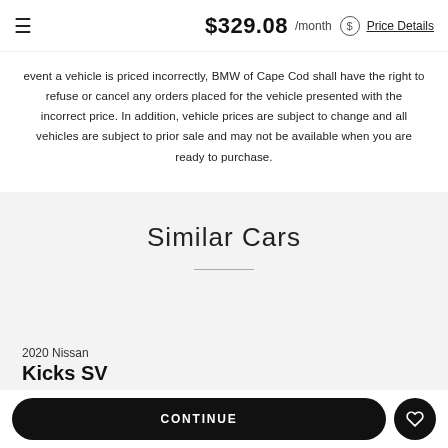≡  $329.08 /month $ Price Details
event a vehicle is priced incorrectly, BMW of Cape Cod shall have the right to refuse or cancel any orders placed for the vehicle presented with the incorrect price. In addition, vehicle prices are subject to change and all vehicles are subject to prior sale and may not be available when you are ready to purchase.
Similar Cars
2020 Nissan
Kicks SV
CONTINUE